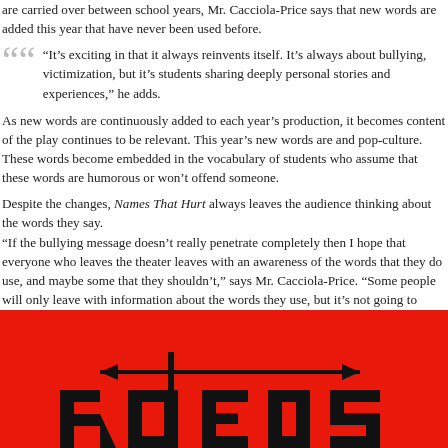are carried over between school years, Mr. Cacciola-Price says that new words are added this year that have never been used before.
“It’s exciting in that it always reinvents itself. It’s always about bullying, victimization, but it’s students sharing deeply personal stories and experiences,” he adds.
As new words are continuously added to each year’s production, it becomes content of the play continues to be relevant. This year’s new words are and pop-culture. These words become embedded in the vocabulary of students who assume that these words are humorous or won’t offend someone.
Despite the changes, Names That Hurt always leaves the audience thinking about the words they say. “If the bullying message doesn’t really penetrate completely then I hope that everyone who leaves the theater leaves with an awareness of the words that they do use, and maybe some that they shouldn’t,” says Mr. Cacciola-Price. “Some people will only leave with information about the words they use, but it’s not going to change the…”
[Figure (illustration): Red background section with black silhouette illustration at the bottom, appears to be part of a newspaper/magazine layout graphic with text letters visible at the bottom edge.]